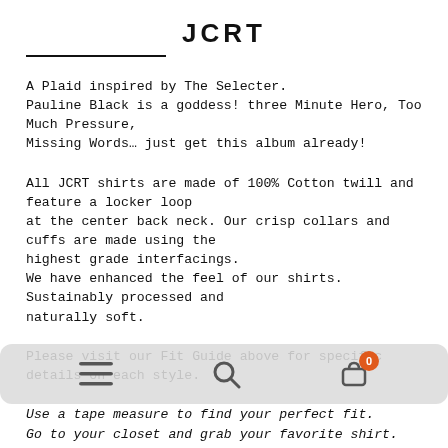JCRT
A Plaid inspired by The Selecter.
Pauline Black is a goddess! three Minute Hero, Too Much Pressure, Missing Words… just get this album already!
All JCRT shirts are made of 100% Cotton twill and feature a locker loop at the center back neck. Our crisp collars and cuffs are made using the highest grade interfacings.
We have enhanced the feel of our shirts. Sustainably processed and naturally soft.
Please visit our Fit Guide above for specific details on each style.
Use a tape measure to find your perfect fit.
Go to your closet and grab your favorite shirt.
Lay it down...
Measure across the chest and waist of your shirt.
Double those measurements and compare them to our product